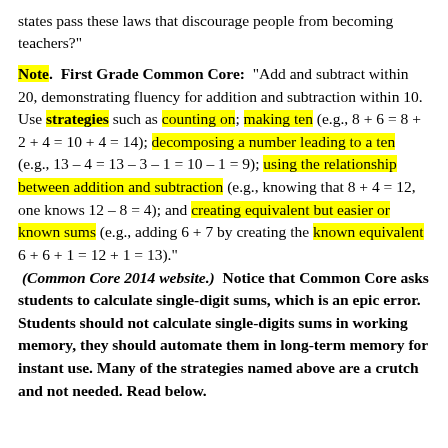states pass these laws that discourage people from becoming teachers?"
Note.  First Grade Common Core:  "Add and subtract within 20, demonstrating fluency for addition and subtraction within 10. Use strategies such as counting on; making ten (e.g., 8 + 6 = 8 + 2 + 4 = 10 + 4 = 14); decomposing a number leading to a ten (e.g., 13 – 4 = 13 – 3 – 1 = 10 – 1 = 9); using the relationship between addition and subtraction (e.g., knowing that 8 + 4 = 12, one knows 12 – 8 = 4); and creating equivalent but easier or known sums (e.g., adding 6 + 7 by creating the known equivalent 6 + 6 + 1 = 12 + 1 = 13)." (Common Core 2014 website.)  Notice that Common Core asks students to calculate single-digit sums, which is an epic error. Students should not calculate single-digits sums in working memory, they should automate them in long-term memory for instant use. Many of the strategies named above are a crutch and not needed. Read below.